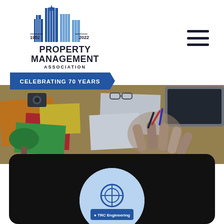[Figure (logo): Property Management Association logo with building graphic, years 1952 and 2022, 'CELEBRATING 70 YEARS' banner]
[Figure (photo): Overhead view of people working at a table with colorful papers, books, and a team joining hands in the center]
[Figure (logo): TRC Engineering logo inside a rounded dark card panel]